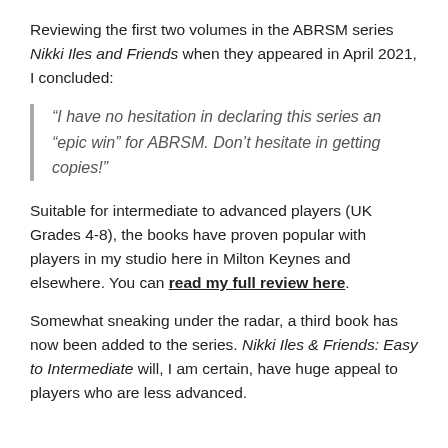Reviewing the first two volumes in the ABRSM series Nikki Iles and Friends when they appeared in April 2021, I concluded:
“I have no hesitation in declaring this series an “epic win” for ABRSM. Don’t hesitate in getting copies!”
Suitable for intermediate to advanced players (UK Grades 4-8), the books have proven popular with players in my studio here in Milton Keynes and elsewhere. You can read my full review here.
Somewhat sneaking under the radar, a third book has now been added to the series. Nikki Iles & Friends: Easy to Intermediate will, I am certain, have huge appeal to players who are less advanced.